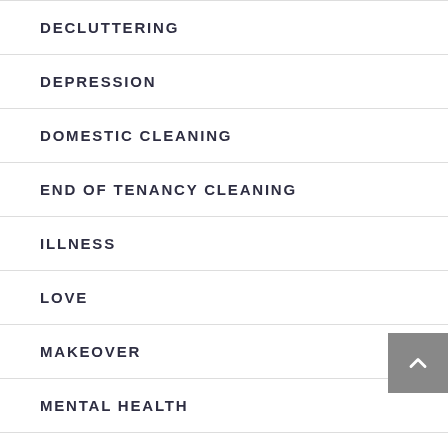DECLUTTERING
DEPRESSION
DOMESTIC CLEANING
END OF TENANCY CLEANING
ILLNESS
LOVE
MAKEOVER
MENTAL HEALTH
MOTIVATION
ODOUR